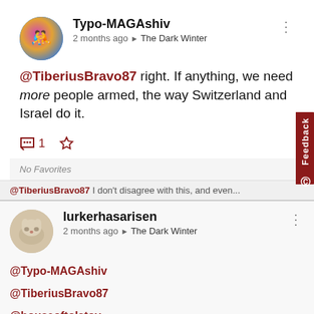Typo-MAGAshiv
2 months ago ▶ The Dark Winter
@TiberiusBravo87 right. If anything, we need more people armed, the way Switzerland and Israel do it.
💬 1 ☆
No Favorites
@TiberiusBravo87 I don't disagree with this, and even...
lurkerhasarisen
2 months ago ▶ The Dark Winter
@Typo-MAGAshiv
@TiberiusBravo87
@houseoftolstoy
Typo beat me to it (I was at the VA), but I don't think anyone is suggesting that everyone should be armed, but...